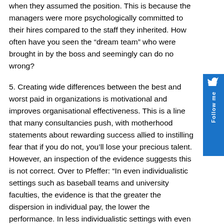when they assumed the position. This is because the managers were more psychologically committed to their hires compared to the staff they inherited. How often have you seen the "dream team" who were brought in by the boss and seemingly can do no wrong?
5. Creating wide differences between the best and worst paid in organizations is motivational and improves organisational effectiveness. This is a line that many consultancies push, with motherhood statements about rewarding success allied to instilling fear that if you do not, you'll lose your precious talent. However, an inspection of the evidence suggests this is not correct. Over to Pfeffer: "In even individualistic settings such as baseball teams and university faculties, the evidence is that the greater the dispersion in individual pay, the lower the performance. In less individualistic settings with even higher levels of task-related interdependence, such as companies, the evidence is that greater pay dispersion is also associated with diminished quality and financial performance."